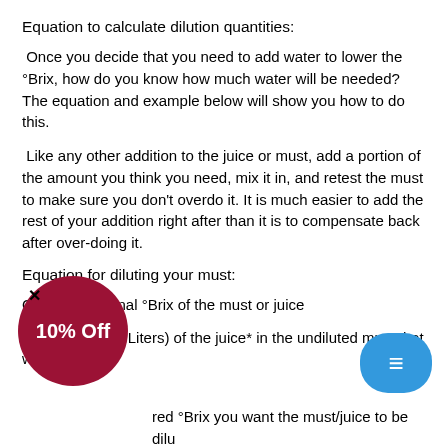Equation to calculate dilution quantities:
Once you decide that you need to add water to lower the °Brix, how do you know how much water will be needed? The equation and example below will show you how to do this.
Like any other addition to the juice or must, add a portion of the amount you think you need, mix it in, and retest the must to make sure you don't overdo it. It is much easier to add the rest of your addition right after than it is to compensate back after over-doing it.
Equation for diluting your must:
OB = the Original °Brix of the must or juice
L1 = volume (in Liters) of the juice* in the undiluted must that will b[e]...
[Desired °Brix you want the must/juice to be dilu...]
L2 = volume (in Liters) of the juice* in the diluted must that will